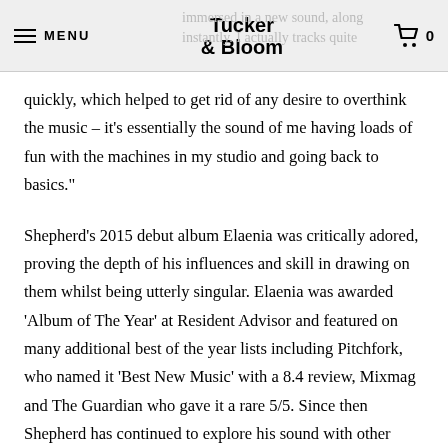MENU  Tucker & Bloom  0
immersed in a new sound, along instantly. I actually tracks quite quickly, which helped to get rid of any desire to overthink the music – it's essentially the sound of me having loads of fun with the machines in my studio and going back to basics."
Shepherd's 2015 debut album Elaenia was critically adored, proving the depth of his influences and skill in drawing on them whilst being utterly singular. Elaenia was awarded 'Album of The Year' at Resident Advisor and featured on many additional best of the year lists including Pitchfork, who named it 'Best New Music' with a 8.4 review, Mixmag and The Guardian who gave it a rare 5/5. Since then Shepherd has continued to explore his sound with other notable releases including his short